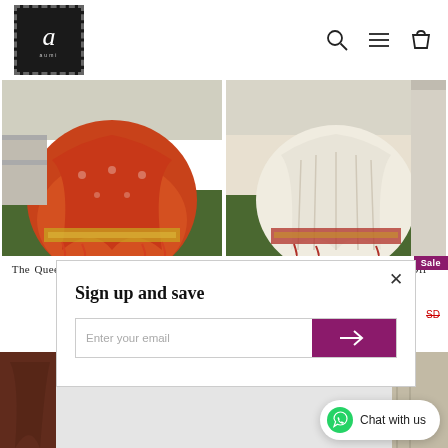[Figure (screenshot): Aumi brand logo — dark square with decorative 'a' letter and brand name]
[Figure (photo): The Queen Story Banarasi Saree Orange product photo showing orange/red saree on grass]
The Queen Story Banarasi Saree Orange
AUMI
[Figure (photo): The Queen Story Banarasi Saree Off White product photo showing off-white/cream saree on grass]
The Queen Story Banarasi Saree Off White
AUMI
Sign up and save
Enter your email
Chat with us